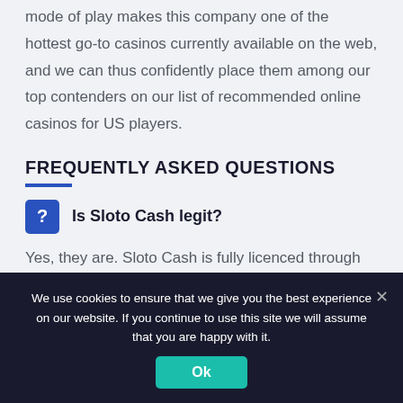mode of play makes this company one of the hottest go-to casinos currently available on the web, and we can thus confidently place them among our top contenders on our list of recommended online casinos for US players.
FREQUENTLY ASKED QUESTIONS
Is Sloto Cash legit?
Yes, they are. Sloto Cash is fully licenced through the Curacao Gaming Commission, are certified for fair gaming, and employ the highest security protocols to ensure the protection of your banking details and personal information.
We use cookies to ensure that we give you the best experience on our website. If you continue to use this site we will assume that you are happy with it.